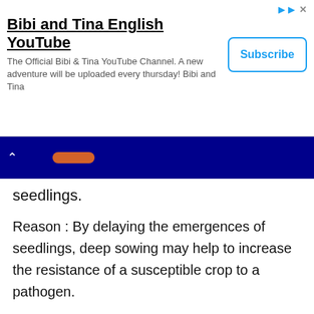[Figure (screenshot): Advertisement banner for Bibi and Tina English YouTube channel with Subscribe button]
[Figure (screenshot): Navigation bar with back arrow and orange button on dark blue background]
seedlings.
Reason : By delaying the emergences of seedlings, deep sowing may help to increase the resistance of a susceptible crop to a pathogen.
Answer
Q.11. Assertion : Mass selection is useful in homozygous plants.